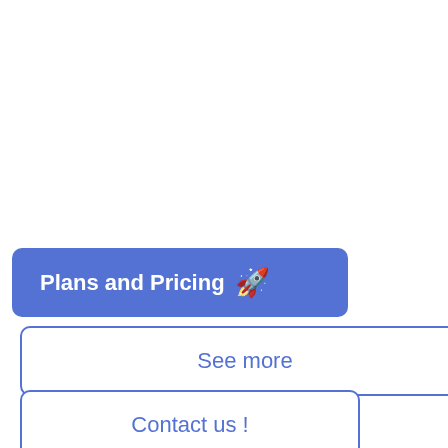Plans and Pricing 🚀
See more
Contact us !